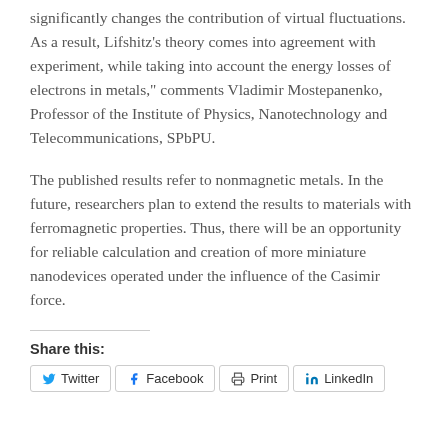significantly changes the contribution of virtual fluctuations. As a result, Lifshitz's theory comes into agreement with experiment, while taking into account the energy losses of electrons in metals," comments Vladimir Mostepanenko, Professor of the Institute of Physics, Nanotechnology and Telecommunications, SPbPU.
The published results refer to nonmagnetic metals. In the future, researchers plan to extend the results to materials with ferromagnetic properties. Thus, there will be an opportunity for reliable calculation and creation of more miniature nanodevices operated under the influence of the Casimir force.
Share this: